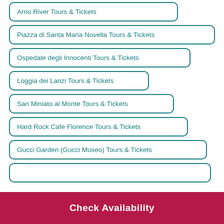Arno River Tours & Tickets
Piazza di Santa Maria Novella Tours & Tickets
Ospedale degli Innocenti Tours & Tickets
Loggia dei Lanzi Tours & Tickets
San Miniato al Monte Tours & Tickets
Hard Rock Cafe Florence Tours & Tickets
Gucci Garden (Gucci Museo) Tours & Tickets
Check Availability